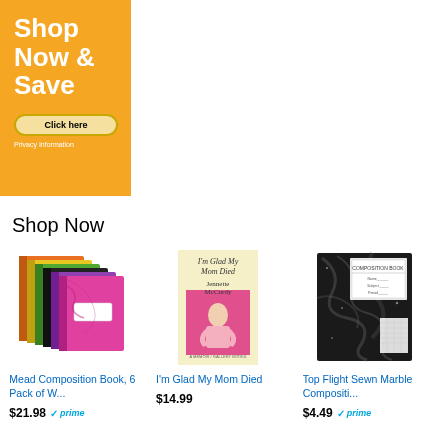[Figure (illustration): Orange advertisement banner with 'Shop Now & Save' text in white, a 'Click here' button, and 'Privacy Information' text below]
Shop Now
[Figure (photo): Mead Composition Book, 6 Pack of W... - colorful composition notebooks]
Mead Composition Book, 6 Pack of W...
$21.98 prime
[Figure (photo): I'm Glad My Mom Died book cover by Jennette McCurdy]
I'm Glad My Mom Died
$14.99
[Figure (photo): Top Flight Sewn Marble Compositi... - black marble composition notebook]
Top Flight Sewn Marble Compositi...
$4.49 prime